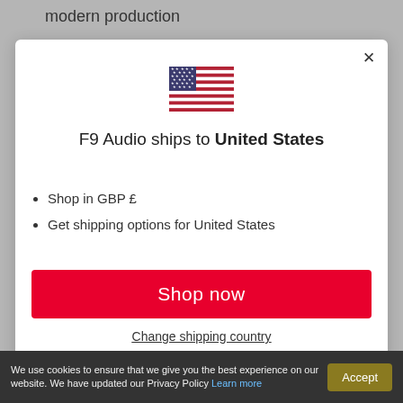modern production
[Figure (illustration): US flag icon]
F9 Audio ships to United States
Shop in GBP £
Get shipping options for United States
Shop now
Change shipping country
We use cookies to ensure that we give you the best experience on our website. We have updated our Privacy Policy Learn more  Accept